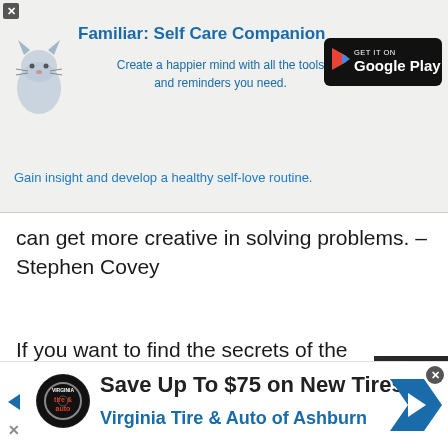[Figure (screenshot): App advertisement banner for 'Familiar: Self Care Companion' with cat icon and Google Play button]
Familiar: Self Care Companion
Create a happier mind with all the tools and reminders you need.
Gain insight and develop a healthy self-love routine.
can get more creative in solving problems. – Stephen Covey
If you want to find the secrets of the universe, think in terms of energy, frequency and vibration. – Nikola
[Figure (screenshot): Video player showing 'This Day in History' with date August 12, muted with progress bar]
[Figure (photo): Pink background image with text 'I LOVE BEING' and partial text 'MORE THAN I HAVE ENJOYED DOING']
[Figure (screenshot): Bottom advertisement: Save Up To $75 on New Tires - Virginia Tire & Auto of Ashburn]